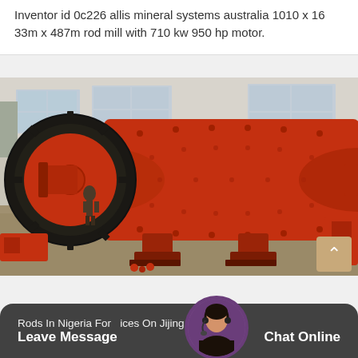Inventor id 0c226 allis mineral systems australia 1010 x 16 33m x 487m rod mill with 710 kw 950 hp motor.
[Figure (photo): Large orange industrial rod/ball mill machine sitting on the floor of an industrial warehouse/factory. The machine has a cylindrical drum body, large gear ring on the left side, and multiple support legs/pedestals. A person in a hard hat is visible in the background on the left side. The machine is painted bright orange-red.]
Rods In Nigeria For  ices On Jijing
Leave Message   Chat Online